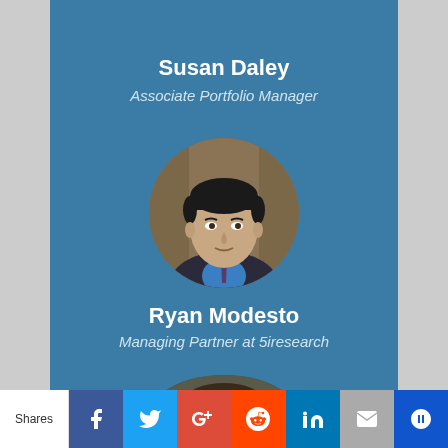Susan Daley
Associate Portfolio Manager
[Figure (photo): Circular headshot photo of Ryan Modesto, a man in a blue shirt and tie with dark hair, against a blurred background]
Ryan Modesto
Managing Partner at 5iresearch
[Figure (photo): Partially visible circular headshot of a third person at the bottom of the page]
Shares | Facebook | Twitter | Google+ | Reddit | LinkedIn | Email | King